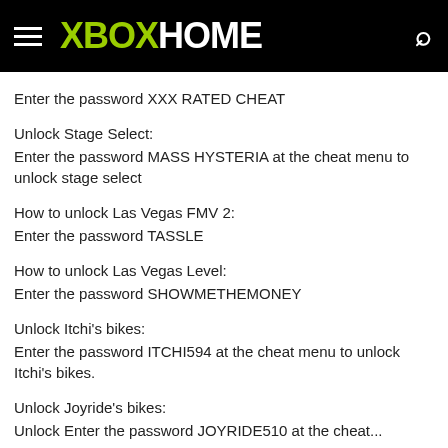XBOX HOME
Enter the password XXX RATED CHEAT
Unlock Stage Select:
Enter the password MASS HYSTERIA at the cheat menu to unlock stage select
How to unlock Las Vegas FMV 2:
Enter the password TASSLE
How to unlock Las Vegas Level:
Enter the password SHOWMETHEMONEY
Unlock Itchi's bikes:
Enter the password ITCHI594 at the cheat menu to unlock Itchi's bikes.
Unlock Joyride's bikes:
Unlock Enter the password JOYRIDE510 at the cheat...